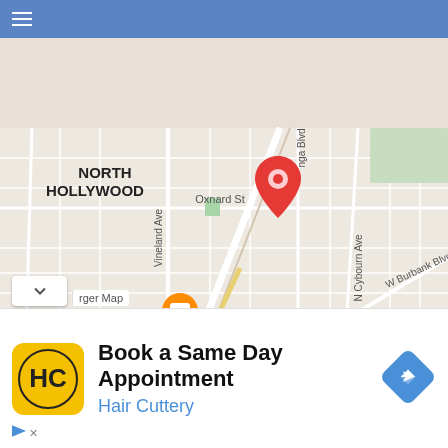≡
[Figure (map): Google Maps screenshot showing North Hollywood area in Los Angeles. Map shows streets including Oxnard St, Burbank Blvd, Magnolia Blvd, Vineland Ave, Cahuenga Blvd, N Cybourn Ave, Tujunga Ave. Neighborhoods labeled: NORTH HOLLYWOOD, TOLUCA TERRACE, TOLUCA WOODS, NOHO ARTS DISTRICT, MCNEIL. Points of interest: McDonald's with fork icon (orange pin), Ralphs grocery store (blue pin), North Hollywood Recreation Center area (green pin), Metro M station markers. A red location pin is placed near Oxnard St. The Mystic Mus[eum] is partially visible on the right edge.]
Book a Same Day Appointment
Hair Cuttery